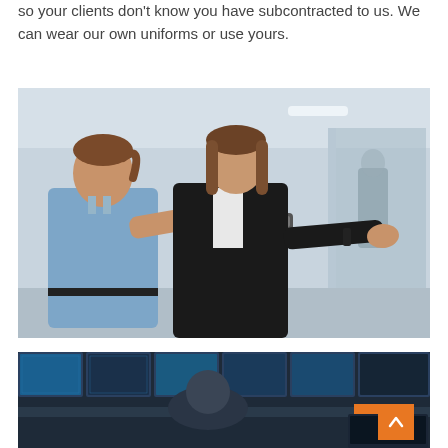so your clients don't know you have subcontracted to us. We can wear our own uniforms or use yours.
[Figure (photo): A female security officer in a light blue uniform using a handheld metal detector wand to scan a woman in a black business suit, in a modern office or airport security setting.]
[Figure (photo): A person viewed from behind sitting in front of multiple surveillance monitor screens in a security control room, with an orange back-to-top arrow button visible in the lower right.]